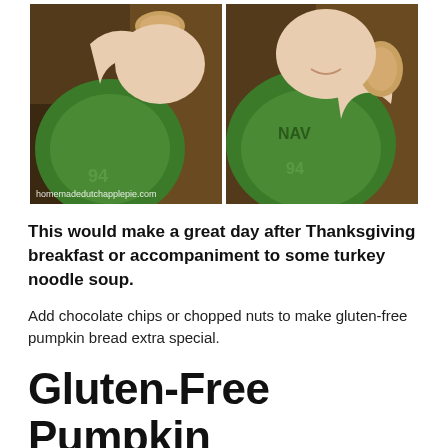[Figure (photo): Two side-by-side photos of a child in a green shirt eating pumpkin bread. Left photo shows child biting into a piece of bread; right photo shows child holding a piece. Watermark 'homemadedutchapplepie.com' on bottom left of left photo.]
This would make a great day after Thanksgiving breakfast or accompaniment to some turkey noodle soup.
Add chocolate chips or chopped nuts to make gluten-free pumpkin bread extra special.
Gluten-Free Pumpkin